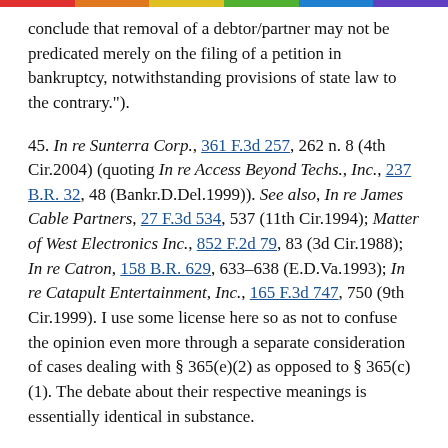conclude that removal of a debtor/partner may not be predicated merely on the filing of a petition in bankruptcy, notwithstanding provisions of state law to the contrary.").
45. In re Sunterra Corp., 361 F.3d 257, 262 n. 8 (4th Cir.2004) (quoting In re Access Beyond Techs., Inc., 237 B.R. 32, 48 (Bankr.D.Del.1999)). See also, In re James Cable Partners, 27 F.3d 534, 537 (11th Cir.1994); Matter of West Electronics Inc., 852 F.2d 79, 83 (3d Cir.1988); In re Catron, 158 B.R. 629, 633-638 (E.D.Va.1993); In re Catapult Entertainment, Inc., 165 F.3d 747, 750 (9th Cir.1999). I use some license here so as not to confuse the opinion even more through a separate consideration of cases dealing with § 365(e)(2) as opposed to § 365(c)(1). The debate about their respective meanings is essentially identical in substance.
46. In re West Elecs., Inc., 852 F.2d 79, 83 (3d...